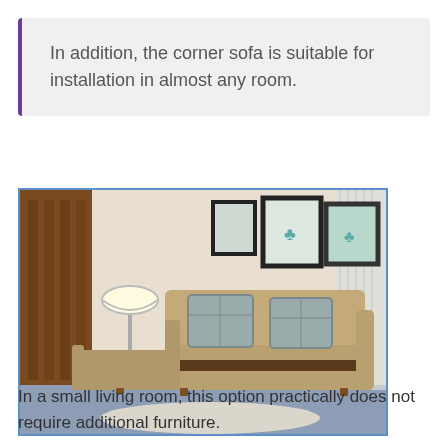In addition, the corner sofa is suitable for installation in almost any room.
[Figure (photo): A corner sofa with chaise lounge in a living room setting. The sofa is beige/tan colored with patterned throw pillows. The room has wood panel walls on the left, framed pictures on the wall, a floor lamp, a rug on a blue-gray floor, and curtains on the right.]
In a small living room, this option practically does not require additional furniture.